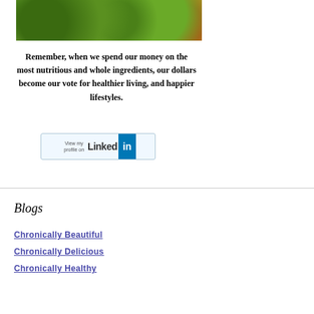[Figure (photo): Photo of green and red/yellow vegetables (peppers, tomatoes) piled together]
Remember, when we spend our money on the most nutritious and whole ingredients, our dollars become our vote for healthier living, and happier lifestyles.
[Figure (other): LinkedIn profile button: View my profile on LinkedIn]
Blogs
Chronically Beautiful
Chronically Delicious
Chronically Healthy